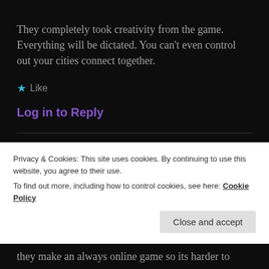They completely took creativity from the game. Everything will be dictated. You can't even control out your cities connect together.
★ Like
Log in to Reply
[Figure (photo): Avatar image of a tiger face for user Joshua Michael Branham]
JOSHUA MICHAEL BRANHAM
March 2, 2013 at 5:06 PM
Privacy & Cookies: This site uses cookies. By continuing to use this website, you agree to their use.
To find out more, including how to control cookies, see here: Cookie Policy
Close and accept
they make an always online game so its harder to